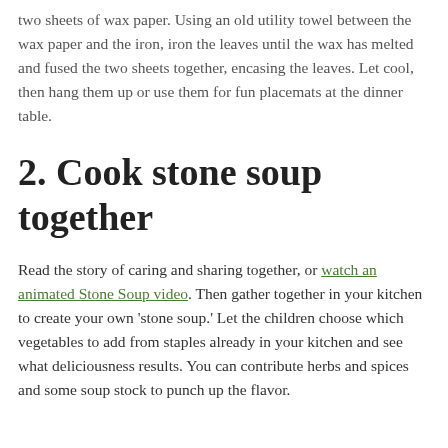two sheets of wax paper. Using an old utility towel between the wax paper and the iron, iron the leaves until the wax has melted and fused the two sheets together, encasing the leaves. Let cool, then hang them up or use them for fun placemats at the dinner table.
2. Cook stone soup together
Read the story of caring and sharing together, or watch an animated Stone Soup video. Then gather together in your kitchen to create your own 'stone soup.' Let the children choose which vegetables to add from staples already in your kitchen and see what deliciousness results. You can contribute herbs and spices and some soup stock to punch up the flavor.